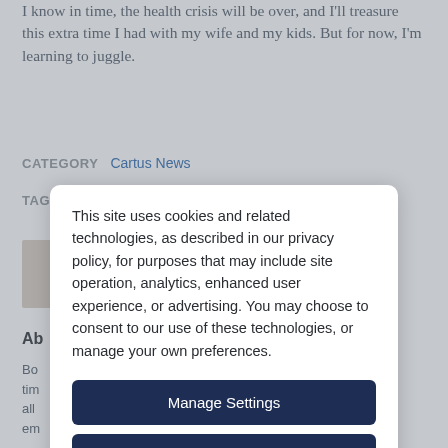I know in time, the health crisis will be over, and I'll treasure this extra time I had with my wife and my kids. But for now, I'm learning to juggle.
CATEGORY   Cartus News
TAGS   COVID-19, R... W... W... Life B...
This site uses cookies and related technologies, as described in our privacy policy, for purposes that may include site operation, analytics, enhanced user experience, or advertising. You may choose to consent to our use of these technologies, or manage your own preferences.
Manage Settings
Accept
Decline All
Ab
Bo
tim
all
em